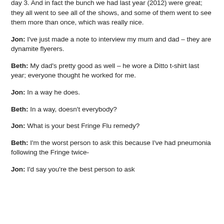day 3. And in fact the bunch we had last year (2012) were great; they all went to see all of the shows, and some of them went to see them more than once, which was really nice.
Jon: I've just made a note to interview my mum and dad – they are dynamite flyerers.
Beth: My dad's pretty good as well – he wore a Ditto t-shirt last year; everyone thought he worked for me.
Jon: In a way he does.
Beth: In a way, doesn't everybody?
Jon: What is your best Fringe Flu remedy?
Beth: I'm the worst person to ask this because I've had pneumonia following the Fringe twice-
Jon: I'd say you're the best person to ask